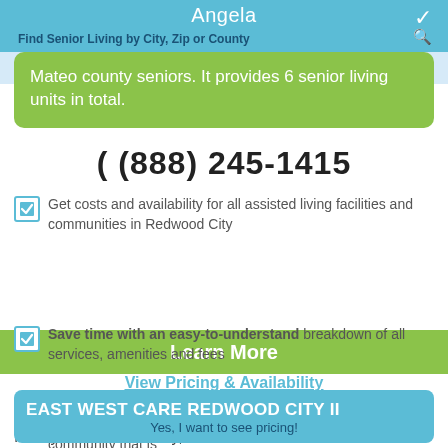Angela | Find Senior Living by City, Zip or County
Mateo county seniors. It provides 6 senior living units in total.
( (888) 245-1415
Get costs and availability for all assisted living facilities and communities in Redwood City
Learn More
Save time with an easy-to-understand breakdown of all services, amenities and fees
View Pricing & Availability
Find the senior living facility or community that is perfect for you
EAST WEST CARE REDWOOD CITY II
Yes, I want to see pricing!
East West Care Redwood City Ii is a senior care and living facility in Redwood City, California